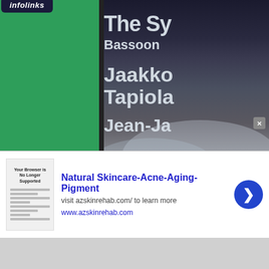[Figure (illustration): Screenshot of a webpage showing a music album cover. Left side has a large green panel, center has a dark vertical divider, right side shows a misty landscape album cover with white text reading 'The Sy', 'Bassoon', 'Jaakko', 'Tapiola', 'Jean-Ja'. An Infolinks badge appears at lower left. An advertisement banner appears at the bottom for 'Natural Skincare-Acne-Aging-Pigment' from azskinrehab.com.]
Natural Skincare-Acne-Aging-Pigment
visit azskinrehab.com/ to learn more
www.azskinrehab.com